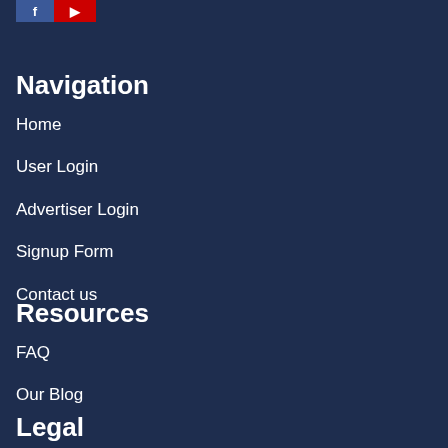[Figure (logo): Social media icons: Facebook (blue) and YouTube (red) buttons]
Navigation
Home
User Login
Advertiser Login
Signup Form
Contact us
Resources
FAQ
Our Blog
Legal